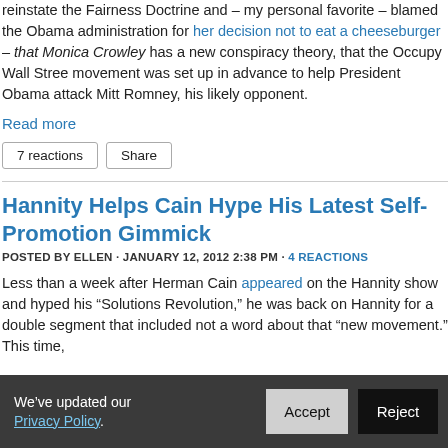reinstate the Fairness Doctrine and – my personal favorite – blamed the Obama administration for her decision not to eat a cheeseburger – that Monica Crowley has a new conspiracy theory, that the Occupy Wall Street movement was set up in advance to help President Obama attack Mitt Romney, his likely opponent.
Read more
7 reactions   Share
Hannity Helps Cain Hype His Latest Self-Promotion Gimmick
POSTED BY ELLEN · JANUARY 12, 2012 2:38 PM · 4 REACTIONS
Less than a week after Herman Cain appeared on the Hannity show and hyped his “Solutions Revolution,” he was back on Hannity for a double segment that included not a word about that “new movement.” This time,
We’ve updated our Privacy Policy.   Accept   Reject